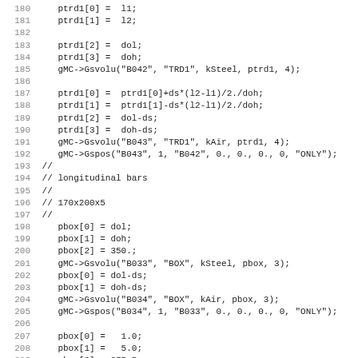180  ptrd1[0] =  l1;
181  ptrd1[1] =  l2;
182
183  ptrd1[2] =  dol;
184  ptrd1[3] =  doh;
185  gMC->Gsvolu("B042", "TRD1", kSteel, ptrd1, 4);
186
187  ptrd1[0] =  ptrd1[0]+ds*(l2-l1)/2./doh;
188  ptrd1[1] =  ptrd1[1]-ds*(l2-l1)/2./doh;
189  ptrd1[2] =  dol-ds;
190  ptrd1[3] =  doh-ds;
191  gMC->Gsvolu("B043", "TRD1", kAir, ptrd1, 4);
192  gMC->Gspos("B043", 1, "B042", 0., 0., 0., 0, "ONLY");
193 //
194 // longitudinal bars
195 //
196 // 170x200x5
197 //
198  pbox[0] = dol;
199  pbox[1] = doh;
200  pbox[2] = 350.;
201  gMC->Gsvolu("B033", "BOX", kSteel, pbox, 3);
202  pbox[0] = dol-ds;
203  pbox[1] = doh-ds;
204  gMC->Gsvolu("B034", "BOX", kAir, pbox, 3);
205  gMC->Gspos("B034", 1, "B033", 0., 0., 0., 0, "ONLY");
206
207  pbox[0] =   1.0;
208  pbox[1] =   5.0;
209  pbox[2] = 375.5;
210
211